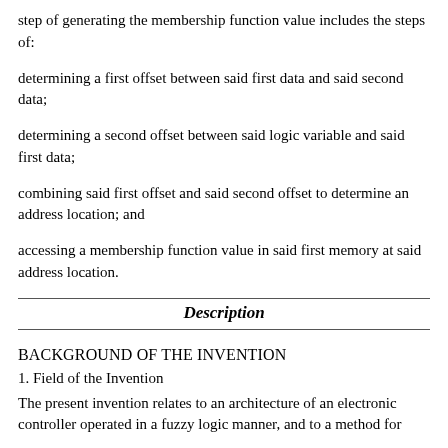step of generating the membership function value includes the steps of:
determining a first offset between said first data and said second data;
determining a second offset between said logic variable and said first data;
combining said first offset and said second offset to determine an address location; and
accessing a membership function value in said first memory at said address location.
Description
BACKGROUND OF THE INVENTION
1. Field of the Invention
The present invention relates to an architecture of an electronic controller operated in a fuzzy logic manner, and to a method for